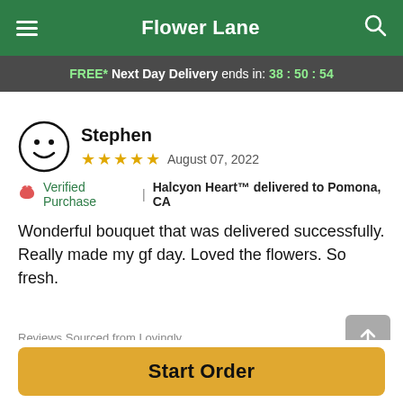Flower Lane
FREE* Next Day Delivery ends in: 38:50:54
Stephen
★★★★★  August 07, 2022
🌹 Verified Purchase  |  Halcyon Heart™ delivered to Pomona, CA
Wonderful bouquet that was delivered successfully. Really made my gf day. Loved the flowers. So fresh.
Reviews Sourced from Lovingly
You May Also Like
Start Order